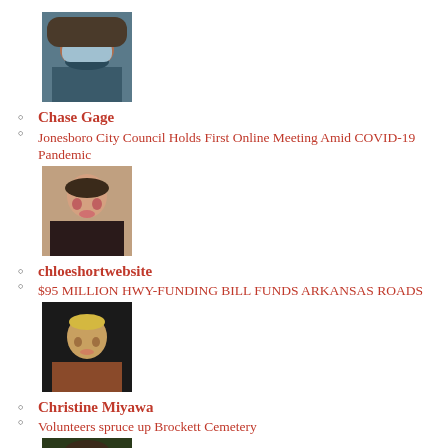[Figure (photo): Person wearing a mask and hoodie with red hair]
Chase Gage
Jonesboro City Council Holds First Online Meeting Amid COVID-19 Pandemic
[Figure (photo): Young woman with long brown hair smiling]
chloeshortwebsite
$95 MILLION HWY-FUNDING BILL FUNDS ARKANSAS ROADS
[Figure (photo): Person with blond hair smiling against dark background]
Christine Miyawa
Volunteers spruce up Brockett Cemetery
[Figure (photo): Young man with beard and dark hair]
christopherjameslee
Buy or Bye? ‘Star Wars Battlefront 2’
[Figure (photo): Man with dark hair outdoors]
Colby Sigears
Raising age limit may prevent adolescent addiction